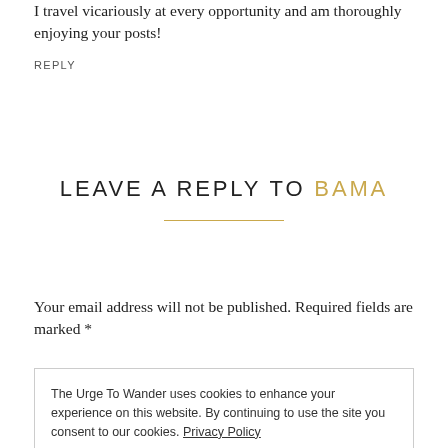I travel vicariously at every opportunity and am thoroughly enjoying your posts!
REPLY
LEAVE A REPLY TO BAMA
Your email address will not be published. Required fields are marked *
The Urge To Wander uses cookies to enhance your experience on this website. By continuing to use the site you consent to our cookies. Privacy Policy